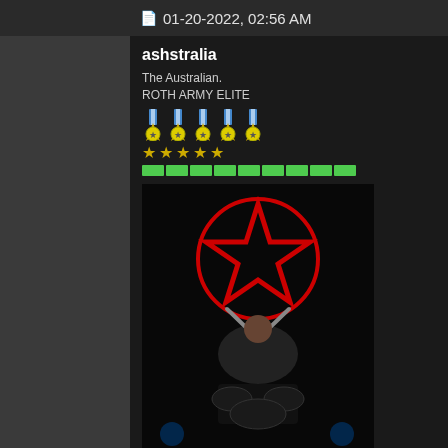01-20-2022, 02:56 AM
ashstralia
The Australian.
ROTH ARMY ELITE
[Figure (photo): Profile avatar photo of a drummer performing on stage with a large red star/pentagram drum kit backdrop]
Member No: 1057
Join Date: Feb 2004
Last Online: 08-30-2022 @ 11:04 PM
Location: land of oz
Posts: 6,529
Status: Offline
Thanks: 1,698
Thanked 1,088 Times in 814 Posts

Rep Power: 36
[Figure (logo): ROTHARMY DONOR badge - orange ROTHARMY text on left, blue DONOR text on right]
Imagine if all those pointless wa...
At the very least the JWST wou... budget.
Hey Jackass! You need to [Reg... ROTHARMY.COM!